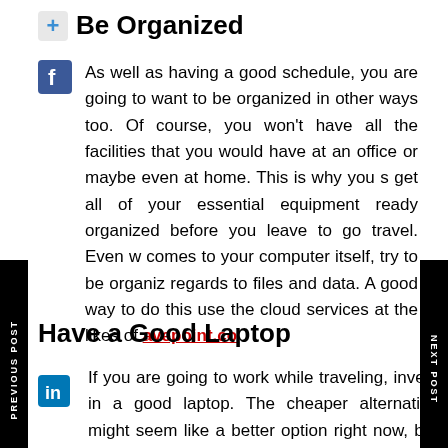Be Organized
As well as having a good schedule, you are going to want to be organized in other ways too. Of course, you won't have all the facilities that you would have at an office or maybe even at home. This is why you s get all of your essential equipment ready organized before you leave to go travel. Even w comes to your computer itself, try to be organiz regards to files and data. A good way to do this use the cloud services at the likes of avepoint.co
Have a Good Laptop
If you are going to work while traveling, invest in a good laptop. The cheaper alternative might seem like a better option right now, but once you hit the road, you will be glad you spent that extra bit of money on